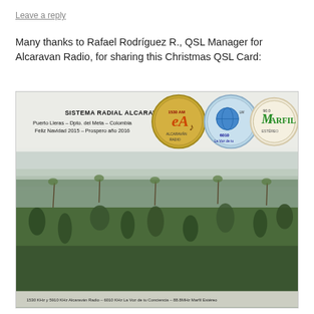Leave a reply
Many thanks to Rafael Rodríguez R., QSL Manager for Alcaravan Radio, for sharing this Christmas QSL Card:
[Figure (photo): QSL card from Sistema Radial Alcaraván Radio showing aerial/landscape view of tropical plains in Puerto Lleras, Dpto. del Meta, Colombia. Card reads: SISTEMA RADIAL ALCARAVÁN RADIO, Puerto Lleras – Dpto. del Meta – Colombia, Feliz Navidad 2015 – Prospero año 2016. Three radio station logos are visible: 1530AM Alcaraván Radio, 6010 La Voz de tu Conciencia, and 90.0 Marfil Estéreo. Bottom text: 1530 KHz y 5910 KHz Alcaraván Radio – 6010 KHz La Voz de tu Conciencia – 88.8MHz Marfil Estéreo]